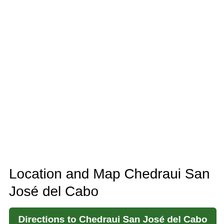Location and Map Chedraui San José del Cabo
Directions to Chedraui San José del Cabo